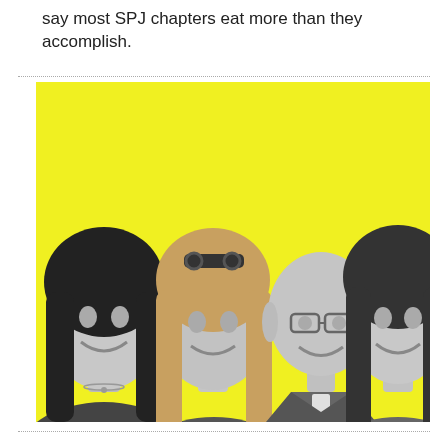say most SPJ chapters eat more than they accomplish.
[Figure (photo): Group photo of four people (two women on the left, one man third from left, one woman on the right) in black and white against a bright yellow background.]